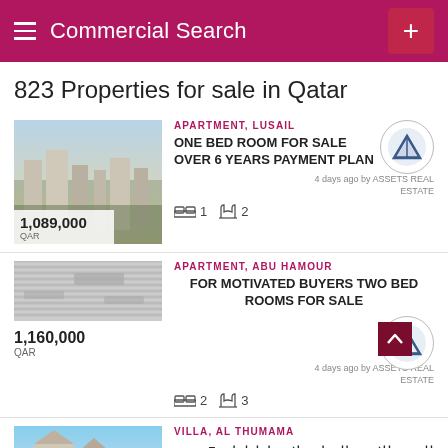Commercial Search
823 Properties for sale in Qatar
[Figure (screenshot): Apartment listing photo showing Lusail cityscape with water and buildings]
APARTMENT, LUSAIL
ONE BED ROOM FOR SALE OVER 6 YEARS PAYMENT PLAN
1,089,000 QAR
1  2  — 4 days ago by ASSETS REAL ESTATE
[Figure (screenshot): Apartment listing blurred/striped thumbnail for Abu Hamour]
APARTMENT, ABU HAMOUR
FOR MOTIVATED BUYERS TWO BED ROOMS FOR SALE
1,160,000 QAR
2  3  — 4 days ago by ASSETS REAL ESTATE
[Figure (screenshot): Villa listing photo showing Al Thumama exterior with sky]
VILLA, AL THUMAMA
للسع فللا في الثمامة لاقساط لغاية 5 سنوات